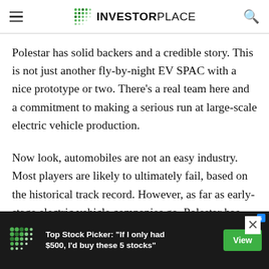INVESTORPLACE
Polestar has solid backers and a credible story. This is not just another fly-by-night EV SPAC with a nice prototype or two. There’s a real team here and a commitment to making a serious run at large-scale electric vehicle production.
Now look, automobiles are not an easy industry. Most players are likely to ultimately fail, based on the historical track record. However, as far as early-stage electric vehicle companies go, Polestar has the right
[Figure (screenshot): Advertisement banner: green dot-grid logo, text 'Top Stock Picker: "If I only had $500, I’d buy these 5 stocks"', green View button, dark background]